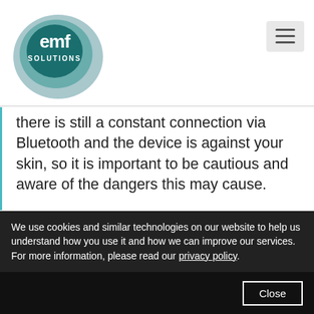[Figure (logo): EMF Solutions logo — concentric teal/blue-grey oval rings with white text 'emf SOLUTIONS' in the center]
there is still a constant connection via Bluetooth and the device is against your skin, so it is important to be cautious and aware of the dangers this may cause.
Bluetooth radiation from any device is less researched than other types of radiation from
We use cookies and similar technologies on our website to help us understand how you use it and how we can improve our services. For more information, please read our privacy policy.
Close